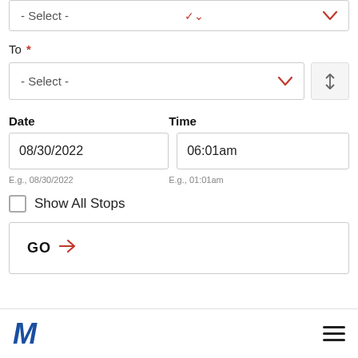- Select -
To *
- Select -
Date
Time
08/30/2022
06:01am
E.g., 08/30/2022
E.g., 01:01am
Show All Stops
GO →
M [Metro logo] with hamburger menu icon